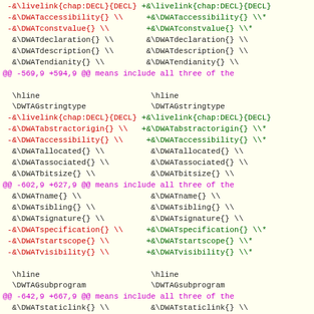Diff code block showing changes to DWARF attribute macros in a LaTeX/documentation file. Shows multiple hunks with red (removed) and green (added) lines, and context lines in black.